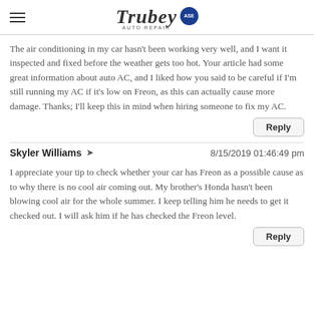[Figure (logo): Trubey Auto Repair logo with ASE badge and hamburger menu icon]
The air conditioning in my car hasn't been working very well, and I want it inspected and fixed before the weather gets too hot. Your article had some great information about auto AC, and I liked how you said to be careful if I'm still running my AC if it's low on Freon, as this can actually cause more damage. Thanks; I'll keep this in mind when hiring someone to fix my AC.
Reply
Skyler Williams  8/15/2019 01:46:49 pm
I appreciate your tip to check whether your car has Freon as a possible cause as to why there is no cool air coming out. My brother's Honda hasn't been blowing cool air for the whole summer. I keep telling him he needs to get it checked out. I will ask him if he has checked the Freon level.
Reply